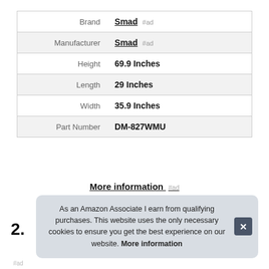|  |  |
| --- | --- |
| Brand | Smad #ad |
| Manufacturer | Smad #ad |
| Height | 69.9 Inches |
| Length | 29 Inches |
| Width | 35.9 Inches |
| Part Number | DM-827WMU |
More information #ad
2.
As an Amazon Associate I earn from qualifying purchases. This website uses the only necessary cookies to ensure you get the best experience on our website. More information